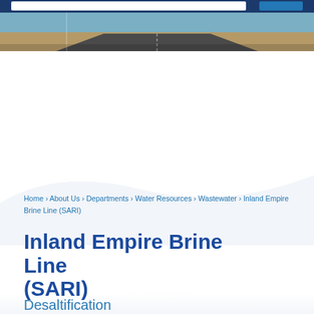[Figure (photo): Header photo of a road/highway stretching into the distance with a brown landscape and blue sky. A dark blue navigation bar is visible at the top.]
Home › About Us › Departments › Water Resources › Wastewater › Inland Empire Brine Line (SARI)
Inland Empire Brine Line (SARI)
Desaltification